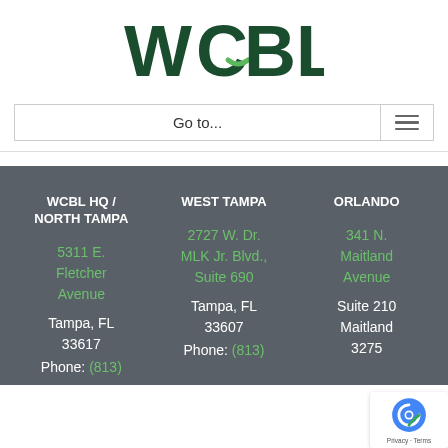[Figure (logo): WCBL logo in dark green with stylized W and green leaf accent on C]
Go to...
WCBL HQ / NORTH TAMPA
5311 E. Fletcher Avenue
Tampa, FL 33617
Phone: (813)
WEST TAMPA
2727 W. Dr. MLK Jr. Blvd., Suite 690
Tampa, FL 33607
Phone: (813)
ORLANDO
341 N. Maitland Avenue
Suite 210
Maitland 3275